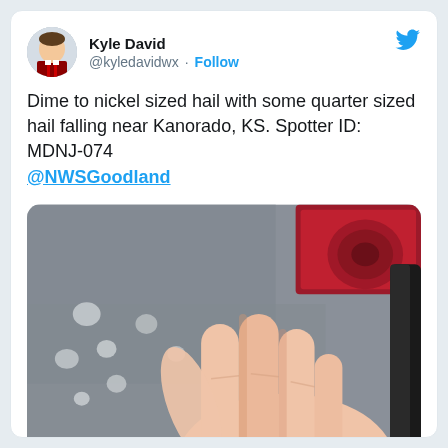Kyle David @kyledavidwx · Follow
Dime to nickel sized hail with some quarter sized hail falling near Kanorado, KS. Spotter ID: MDNJ-074 @NWSGoodland
[Figure (photo): Close-up photo showing a hand resting on a gray surface with hail, and a red object visible in the upper right corner.]